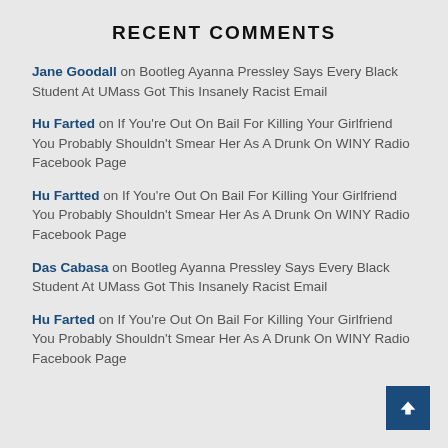RECENT COMMENTS
Jane Goodall on Bootleg Ayanna Pressley Says Every Black Student At UMass Got This Insanely Racist Email
Hu Farted on If You're Out On Bail For Killing Your Girlfriend You Probably Shouldn't Smear Her As A Drunk On WINY Radio Facebook Page
Hu Fartted on If You're Out On Bail For Killing Your Girlfriend You Probably Shouldn't Smear Her As A Drunk On WINY Radio Facebook Page
Das Cabasa on Bootleg Ayanna Pressley Says Every Black Student At UMass Got This Insanely Racist Email
Hu Farted on If You're Out On Bail For Killing Your Girlfriend You Probably Shouldn't Smear Her As A Drunk On WINY Radio Facebook Page